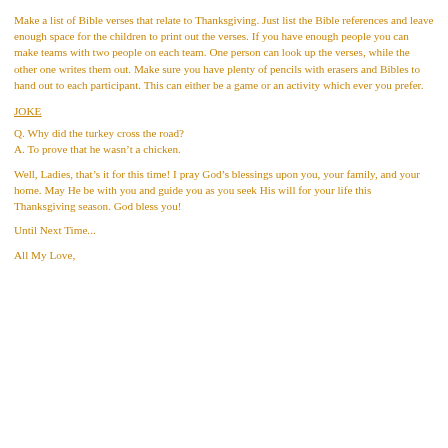Make a list of Bible verses that relate to Thanksgiving. Just list the Bible references and leave enough space for the children to print out the verses. If you have enough people you can make teams with two people on each team. One person can look up the verses, while the other one writes them out. Make sure you have plenty of pencils with erasers and Bibles to hand out to each participant. This can either be a game or an activity which ever you prefer.
JOKE
Q. Why did the turkey cross the road?
A. To prove that he wasn't a chicken.
Well, Ladies, that's it for this time! I pray God's blessings upon you, your family, and your home. May He be with you and guide you as you seek His will for your life this Thanksgiving season. God bless you!
Until Next Time...
All My Love,